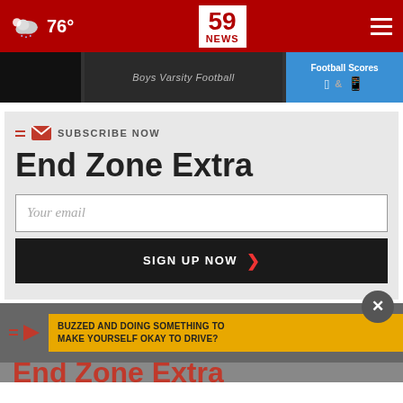76° | 59 NEWS
[Figure (screenshot): Boys Varsity Football banner with app download ad showing Football Scores, Apple and Android icons]
SUBSCRIBE NOW
End Zone Extra
Your email
SIGN UP NOW
BUZZED AND DOING SOMETHING TO MAKE YOURSELF OKAY TO DRIVE?
End Zone Extra